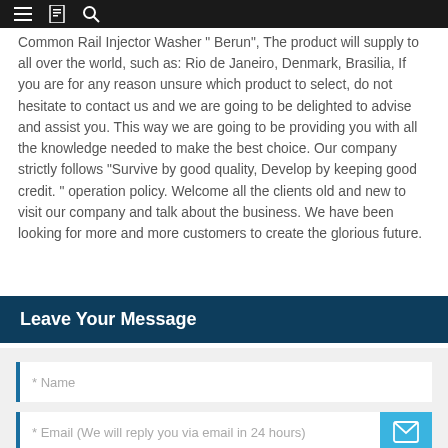[navigation bar with menu, bookmark, and search icons]
Common Rail Injector Washer " Berun", The product will supply to all over the world, such as: Rio de Janeiro, Denmark, Brasilia, If you are for any reason unsure which product to select, do not hesitate to contact us and we are going to be delighted to advise and assist you. This way we are going to be providing you with all the knowledge needed to make the best choice. Our company strictly follows "Survive by good quality, Develop by keeping good credit. " operation policy. Welcome all the clients old and new to visit our company and talk about the business. We have been looking for more and more customers to create the glorious future.
Leave Your Message
* Name
* Email (We will reply you via email in 24 hours)